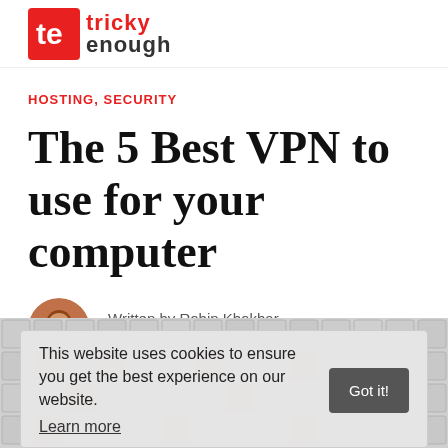Tricky Enough - logo
HOSTING, SECURITY
The 5 Best VPN to use for your computer
Written by Robin Khokhar
Feb 15, 2018 · 3 min read ★
This website uses cookies to ensure you get the best experience on our website. Learn more